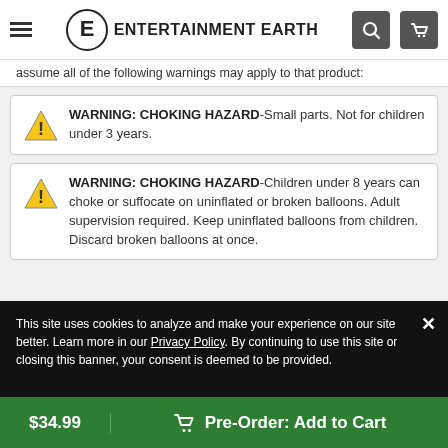Entertainment Earth
assume all of the following warnings may apply to that product:
WARNING: CHOKING HAZARD-Small parts. Not for children under 3 years.
WARNING: CHOKING HAZARD-Children under 8 years can choke or suffocate on uninflated or broken balloons. Adult supervision required. Keep uninflated balloons from children. Discard broken balloons at once.
This site uses cookies to analyze and make your experience on our site better. Learn more in our Privacy Policy. By continuing to use this site or closing this banner, your consent is deemed to be provided.
$34.99 Pre-Order: Add to Cart